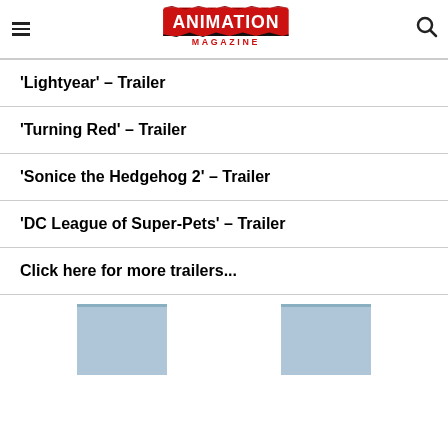Animation Magazine
'Lightyear' – Trailer
'Turning Red' – Trailer
'Sonice the Hedgehog 2' – Trailer
'DC League of Super-Pets' – Trailer
Click here for more trailers...
[Figure (screenshot): Two partial thumbnail images at the bottom of the page, appearing to be video thumbnails with blue/grey coloring, partially visible.]